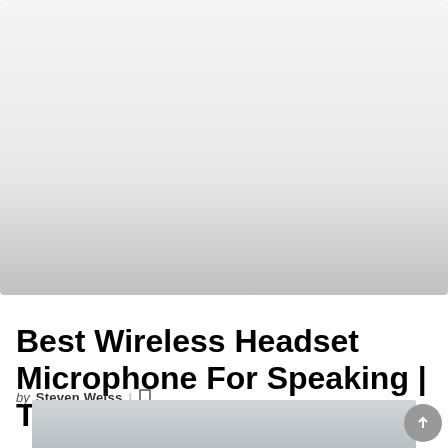[Figure (photo): Large hero image placeholder with light gray gradient background]
REVIEWS
Best Wireless Headset Microphone For Speaking | Top Picks 2022
by Steven Weiss
[Figure (photo): Bottom partial image showing a microphone or headset product]